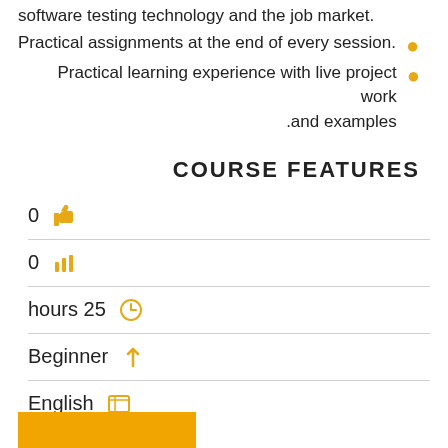.software testing technology and the job market
.Practical assignments at the end of every session
Practical learning experience with live project work and examples.
COURSE FEATURES
0
0
hours 25
Beginner
English